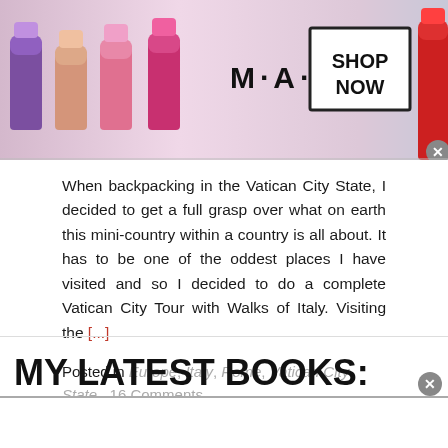[Figure (screenshot): MAC cosmetics advertisement banner with lipsticks, MAC logo, and SHOP NOW button]
When backpacking in the Vatican City State, I decided to get a full grasp over what on earth this mini-country within a country is all about. It has to be one of the oddest places I have visited and so I decided to do a complete Vatican City Tour with Walks of Italy. Visiting the [...]
Posted in Europe, Italy, Rome, Vatican City State   16 Comments
MY LATEST BOOKS: